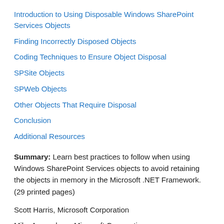Introduction to Using Disposable Windows SharePoint Services Objects
Finding Incorrectly Disposed Objects
Coding Techniques to Ensure Object Disposal
SPSite Objects
SPWeb Objects
Other Objects That Require Disposal
Conclusion
Additional Resources
Summary: Learn best practices to follow when using Windows SharePoint Services objects to avoid retaining the objects in memory in the Microsoft .NET Framework. (29 printed pages)
Scott Harris, Microsoft Corporation
Mike Ammerlaan, Microsoft Corporation